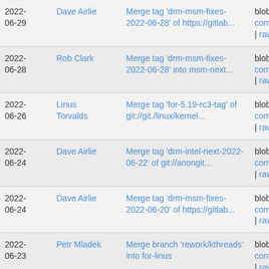| Date | Author | Message | Links |
| --- | --- | --- | --- |
| 2022-06-29 | Dave Airlie | Merge tag 'drm-msm-fixes-2022-06-28' of https://gitlab... | blob | commitdiff | raw |
| 2022-06-28 | Rob Clark | Merge tag 'drm-msm-fixes-2022-06-28' into msm-next... | blob | commitdiff | raw |
| 2022-06-26 | Linus Torvalds | Merge tag 'for-5.19-rc3-tag' of git://git./linux/kernel... | blob | commitdiff | raw |
| 2022-06-24 | Dave Airlie | Merge tag 'drm-intel-next-2022-06-22' of git://anongit... | blob | commitdiff | raw |
| 2022-06-24 | Dave Airlie | Merge tag 'drm-msm-fixes-2022-06-20' of https://gitlab... | blob | commitdiff | raw |
| 2022-06-23 | Petr Mladek | Merge branch 'rework/kthreads' into for-linus | blob | commitdiff | raw |
| 2022-06-23 | Linus Torvalds | Merge tag 'sound-5.19-rc4' of git://git./linux/kernel... | blob | commitdiff | raw |